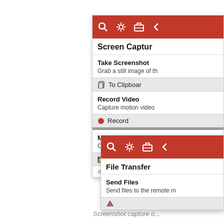[Figure (screenshot): Screen Capture panel UI showing toolbar with red background icons (search, gear, briefcase, arrow), sections for Take Screenshot, Record Video, Manage Capture Folder with buttons for To Clipboard, Record, and Open Folder]
Screenshot capture o...
[Figure (screenshot): File Transfer panel UI showing red toolbar with search/gear/briefcase/arrow icons, File Transfer title, Send Files section with description 'Send files to the remote m...' and a button partially visible]